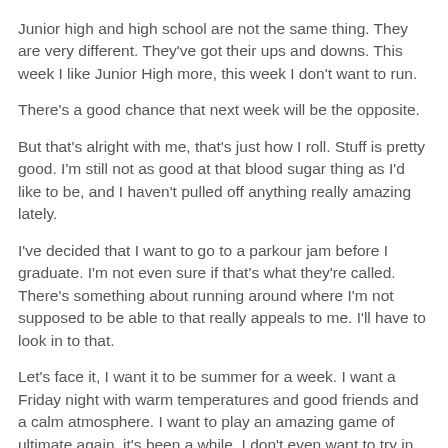Junior high and high school are not the same thing. They are very different. They've got their ups and downs. This week I like Junior High more, this week I don't want to run.
There's a good chance that next week will be the opposite.
But that's alright with me, that's just how I roll. Stuff is pretty good. I'm still not as good at that blood sugar thing as I'd like to be, and I haven't pulled off anything really amazing lately.
I've decided that I want to go to a parkour jam before I graduate. I'm not even sure if that's what they're called. There's something about running around where I'm not supposed to be able to that really appeals to me. I'll have to look in to that.
Let's face it, I want it to be summer for a week. I want a Friday night with warm temperatures and good friends and a calm atmosphere. I want to play an amazing game of ultimate again, it's been a while. I don't even want to try in this weather, it's cold and hard and hurty.